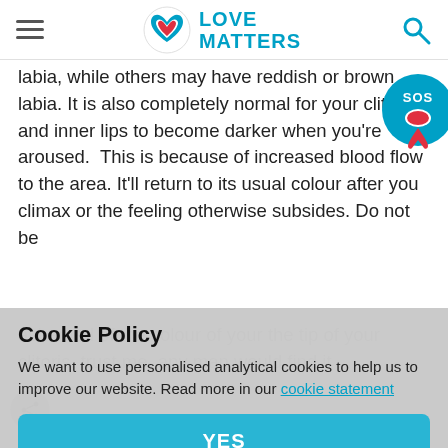Love Matters
labia, while others may have reddish or brown labia. It is also completely normal for your clitoris and inner lips to become darker when you're aroused.  This is because of increased blood flow to the area. It'll return to its usual colour after you climax or the feeling otherwise subsides. Do not be ashamed of the colour of your the tip of your [clitoris, trust me, any man would find it]
[Figure (logo): SOS badge with lips icon]
Cookie Policy
We want to use personalised analytical cookies to help us to improve our website. Read more in our cookie statement
YES